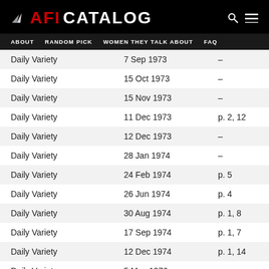AFI CATALOG — ABOUT | RANDOM PICK | WOMEN THEY TALK ABOUT | FAQ
|  |  |  |
| --- | --- | --- |
| Daily Variety | 7 Sep 1973 | – |
| Daily Variety | 15 Oct 1973 | – |
| Daily Variety | 15 Nov 1973 | – |
| Daily Variety | 11 Dec 1973 | p. 2, 12 |
| Daily Variety | 12 Dec 1973 | – |
| Daily Variety | 28 Jan 1974 | – |
| Daily Variety | 24 Feb 1974 | p. 5 |
| Daily Variety | 26 Jun 1974 | p. 4 |
| Daily Variety | 30 Aug 1974 | p. 1, 8 |
| Daily Variety | 17 Sep 1974 | p. 1, 7 |
| Daily Variety | 12 Dec 1974 | p. 1, 14 |
| Daily Variety | 5 May 1976 | – |